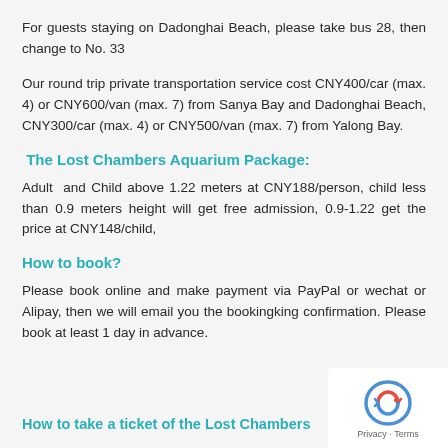For guests staying on Dadonghai Beach, please take bus 28, then change to No. 33
Our round trip private transportation service cost CNY400/car (max. 4) or CNY600/van (max. 7) from Sanya Bay and Dadonghai Beach, CNY300/car (max. 4) or CNY500/van (max. 7) from Yalong Bay.
The Lost Chambers Aquarium Package:
Adult and Child above 1.22 meters at CNY188/person, child less than 0.9 meters height will get free admission, 0.9-1.22 get the price at CNY148/child,
How to book?
Please book online and make payment via PayPal or wechat or Alipay, then we will email you the booking confirmation. Please book at least 1 day in advance.
How to take a ticket of the Lost Chambers